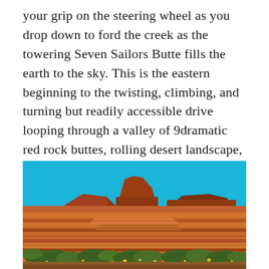your grip on the steering wheel as you drop down to ford the creek as the towering Seven Sailors Butte fills the earth to the sky. This is the eastern beginning to the twisting, climbing, and turning but readily accessible drive looping through a valley of 9dramatic red rock buttes, rolling desert landscape, and a smattering of brush and wildflowers.
[Figure (photo): Photograph of a red rock desert landscape showing layered sandstone buttes in the background under a bright blue sky, with a foreground of stacked orange-red rock slabs and desert scrub brush including some yellow wildflowers.]